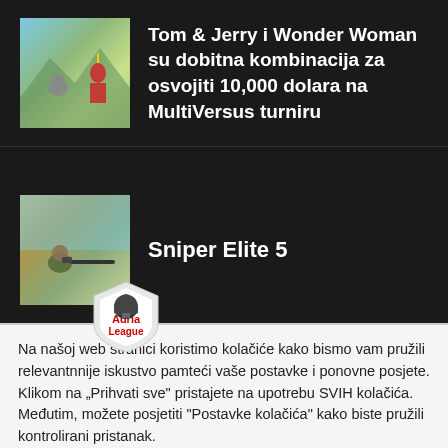[Figure (screenshot): Thumbnail image of Tom & Jerry and Wonder Woman in MultiVersus game]
Tom & Jerry i Wonder Woman su dobitna kombinacija za osvojiti 10,000 dolara na MultiVersus turniru
[Figure (screenshot): Thumbnail image of Sniper Elite 5 game]
Sniper Elite 5
[Figure (logo): Adria League shield logo overlay]
Na našoj web stranici koristimo kolačiće kako bismo vam pružili relevantnnije iskustvo pamteći vaše postavke i ponovne posjete. Klikom na „Prihvati sve" pristajete na upotrebu SVIH kolačića. Međutim, možete posjetiti "Postavke kolačića" kako biste pružili kontrolirani pristanak.
[Figure (screenshot): Bottom thumbnail game image]
Postavke kolačića
Prihvati se
Prihvati sve